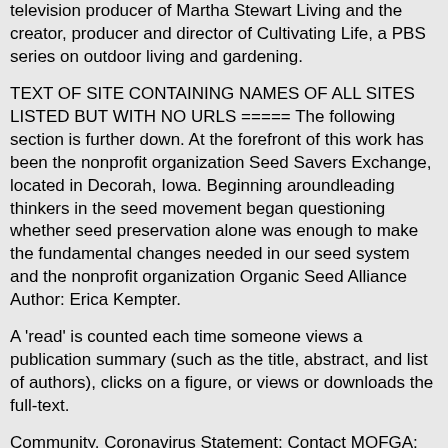television producer of Martha Stewart Living and the creator, producer and director of Cultivating Life, a PBS series on outdoor living and gardening.
TEXT OF SITE CONTAINING NAMES OF ALL SITES LISTED BUT WITH NO URLS ===== The following section is further down. At the forefront of this work has been the nonprofit organization Seed Savers Exchange, located in Decorah, Iowa. Beginning aroundleading thinkers in the seed movement began questioning whether seed preservation alone was enough to make the fundamental changes needed in our seed system and the nonprofit organization Organic Seed Alliance Author: Erica Kempter.
A 'read' is counted each time someone views a publication summary (such as the title, abstract, and list of authors), clicks on a figure, or views or downloads the full-text.
Community. Coronavirus Statement; Contact MOFGA; About MOFGA. MOFGA History; MOFGA Timeline; Annual Report; Why Organic. Common Ground Education Center; Staff.
To read the story of this generous donation, please click you have old horticultural documentation, bulletins, books, catalogs, etc. and would like to see them preserved and put to good use, please contact ons are a very important part of